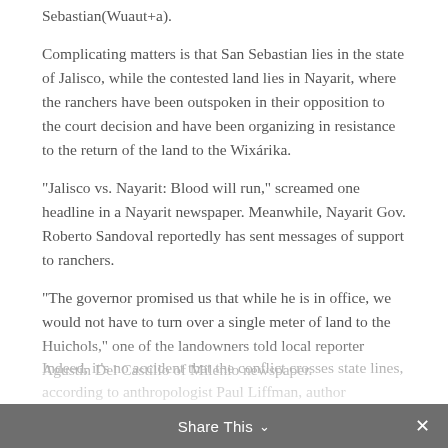Sebastian(Wuaut+a).
Complicating matters is that San Sebastian lies in the state of Jalisco, while the contested land lies in Nayarit, where the ranchers have been outspoken in their opposition to the court decision and have been organizing in resistance to the return of the land to the Wixárika.
“Jalisco vs. Nayarit: Blood will run,” screamed one headline in a Nayarit newspaper. Meanwhile, Nayarit Gov. Roberto Sandoval reportedly has sent messages of support to ranchers.
“The governor promised us that while he is in office, we would not have to turn over a single meter of land to the Huichols,” one of the landowners told local reporter Agustín Del Castillo of Milenio newspaper.
Indeed, it’s no accident that the conflict crosses state lines, according to anthropologist Paul Liffman, author